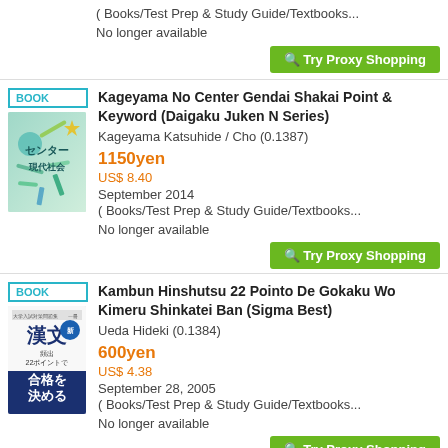( Books/Test Prep & Study Guide/Textbooks...
No longer available
Try Proxy Shopping
[Figure (photo): Book cover for Kageyama No Center Gendai Shakai Point & Keyword, showing Japanese text センター現代社会 on teal/green illustrated cover]
BOOK
Kageyama No Center Gendai Shakai Point & Keyword (Daigaku Juken N Series)
Kageyama Katsuhide / Cho (0.1387)
1150yen
US$ 8.40
September 2014
( Books/Test Prep & Study Guide/Textbooks...
No longer available
Try Proxy Shopping
[Figure (photo): Book cover for Kambun Hinshutsu 22 Pointo De Gokaku Wo Kimeru Shinkatei Ban, showing Japanese text 漢文 頻出22ポイントで合格を決める on white and navy blue cover]
BOOK
Kambun Hinshutsu 22 Pointo De Gokaku Wo Kimeru Shinkatei Ban (Sigma Best)
Ueda Hideki (0.1384)
600yen
US$ 4.38
September 28, 2005
( Books/Test Prep & Study Guide/Textbooks...
No longer available
Try Proxy Shopping